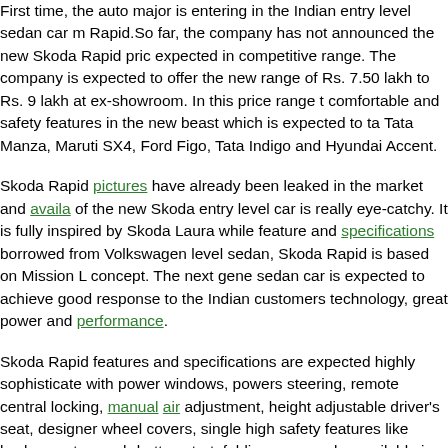First time, the auto major is entering in the Indian entry level sedan car m... Rapid.So far, the company has not announced the new Skoda Rapid pric... expected in competitive range. The company is expected to offer the new... range of Rs. 7.50 lakh to Rs. 9 lakh at ex-showroom. In this price range t... comfortable and safety features in the new beast which is expected to ta... Tata Manza, Maruti SX4, Ford Figo, Tata Indigo and Hyundai Accent.
Skoda Rapid pictures have already been leaked in the market and available... of the new Skoda entry level car is really eye-catchy. It is fully inspired by... Skoda Laura while feature and specifications borrowed from Volkswagen... level sedan, Skoda Rapid is based on Mission L concept. The next gene... sedan car is expected to achieve good response to the Indian customers... technology, great power and performance.
Skoda Rapid features and specifications are expected highly sophisticate... with power windows, powers steering, remote central locking, manual air... adjustment, height adjustable driver's seat, designer wheel covers, single... high safety features like keyless entry, push-button start, folding rear sea... be available in high-end model as standard. The company will also offer... mid variants as optional.